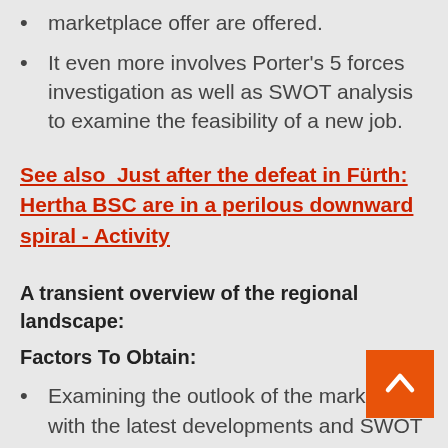marketplace offer are offered.
It even more involves Porter's 5 forces investigation as well as SWOT analysis to examine the feasibility of a new job.
See also  Just after the defeat in Fürth: Hertha BSC are in a perilous downward spiral - Activity
A transient overview of the regional landscape:
Factors To Obtain:
Examining the outlook of the market with the latest developments and SWOT assessment